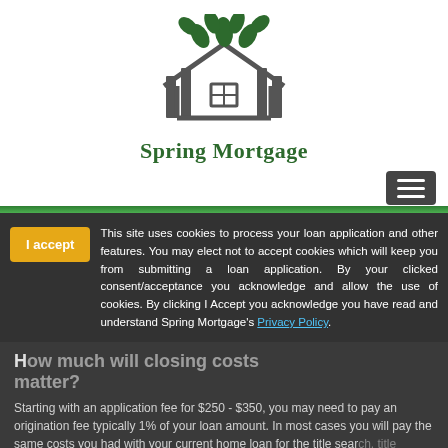[Figure (logo): Spring Mortgage logo: a house outline with vertical bars on left and right, green leaves sprouting above it]
Spring Mortgage
[Figure (other): Hamburger menu button (three horizontal white lines on dark grey background)]
This site uses cookies to process your loan application and other features. You may elect not to accept cookies which will keep you from submitting a loan application. By your clicked consent/acceptance you acknowledge and allow the use of cookies. By clicking I Accept you acknowledge you have read and understand Spring Mortgage's Privacy Policy.
How much will closing costs matter?
Starting with an application fee for $250 - $350, you may need to pay an origination fee typically 1% of your loan amount. In most cases you will pay the same costs you had with your current home loan for the title search, title insurance, lender